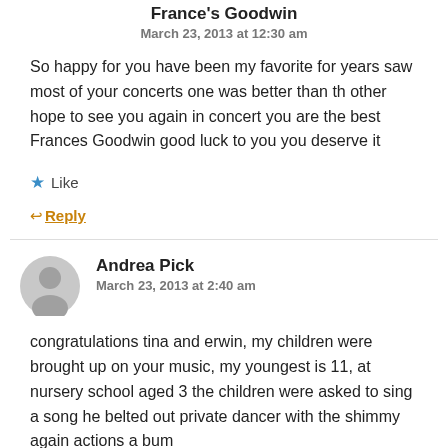France's Goodwin
March 23, 2013 at 12:30 am
So happy for you have been my favorite for years saw most of your concerts one was better than th other hope to see you again in concert you are the best Frances Goodwin good luck to you you deserve it
★ Like
↵ Reply
[Figure (illustration): Gray circular avatar placeholder icon]
Andrea Pick
March 23, 2013 at 2:40 am
congratulations tina and erwin, my children were brought up on your music, my youngest is 11, at nursery school aged 3 the children were asked to sing a song he belted out private dancer with the shimmy again actions a bum